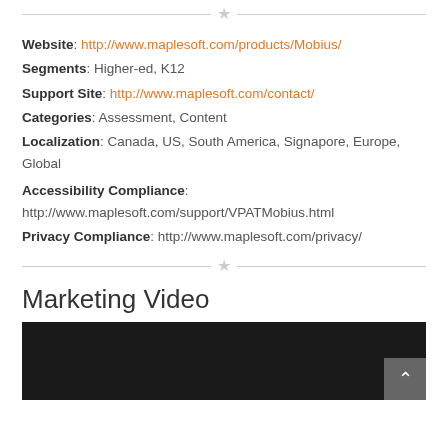Website: http://www.maplesoft.com/products/Mobius/
Segments: Higher-ed, K12
Support Site: http://www.maplesoft.com/contact/
Categories: Assessment, Content
Localization: Canada, US, South America, Signapore, Europe, Global
Accessibility Compliance: http://www.maplesoft.com/support/VPATMobius.html
Privacy Compliance: http://www.maplesoft.com/privacy/
Marketing Video
[Figure (screenshot): Dark video player thumbnail with back-to-top arrow button in bottom right corner]